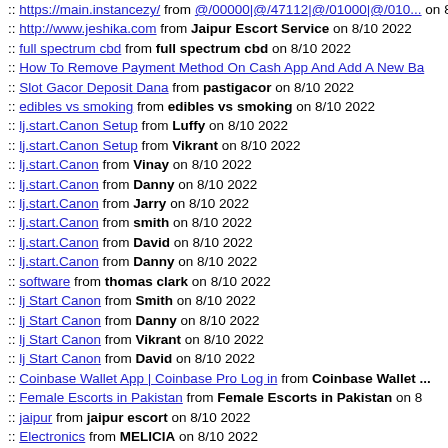:: https://main.instancezy/ from @/00000|@/47112|@/01000|@/010... on 8/10 2022
:: http://www.jeshika.com from Jaipur Escort Service on 8/10 2022
:: full spectrum cbd from full spectrum cbd on 8/10 2022
:: How To Remove Payment Method On Cash App And Add A New Ba...
:: Slot Gacor Deposit Dana from pastigacor on 8/10 2022
:: edibles vs smoking from edibles vs smoking on 8/10 2022
:: lj.start.Canon Setup from Luffy on 8/10 2022
:: lj.start.Canon Setup from Vikrant on 8/10 2022
:: lj.start.Canon from Vinay on 8/10 2022
:: lj.start.Canon from Danny on 8/10 2022
:: lj.start.Canon from Jarry on 8/10 2022
:: lj.start.Canon from smith on 8/10 2022
:: lj.start.Canon from David on 8/10 2022
:: lj.start.Canon from Danny on 8/10 2022
:: software from thomas clark on 8/10 2022
:: lj Start Canon from Smith on 8/10 2022
:: lj Start Canon from Danny on 8/10 2022
:: lj Start Canon from Vikrant on 8/10 2022
:: lj Start Canon from David on 8/10 2022
:: Coinbase Wallet App | Coinbase Pro Log in from Coinbase Wallet ...
:: Female Escorts in Pakistan from Female Escorts in Pakistan on 8/...
:: jaipur from jaipur escort on 8/10 2022
:: Electronics from MELICIA on 8/10 2022
:: Electronics from MELICIA on 8/10 2022
:: China White from China White on 8/9 2022
:: Lemon Haze from Lemon Haze on 8/9 2022
:: Best Document Services in UAE from Benchmark Document Serv...
:: Escort Services in Bangalore - AshikaSoni from Ashika Soni on 8/9...
:: FMovies Free 2021 from FMovies on 8/9 2022
:: tadalista 20 Drug Impotency Treating Pill from latest pills on 8/9 20...
:: https://themidpost.in/crime/ from https://lthemidpost.in/ on 8/9 202...